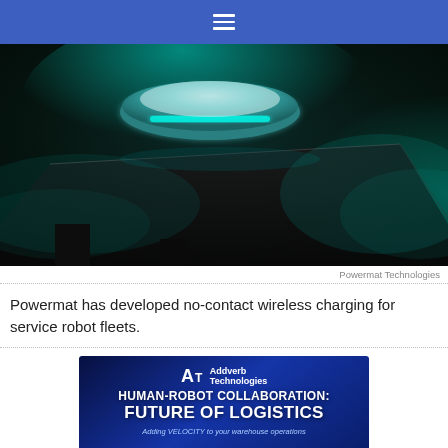☰
[Figure (photo): A futuristic glowing cyan/teal wireless charging device or robot component sitting on a dark reflective surface, with misty teal smoke/vapor surrounding it against a dark background.]
Powermat Technologies
Powermat has developed no-contact wireless charging for service robot fleets.
[Figure (infographic): Advertisement for Addverb Technologies. Dark navy/blue background with the Addverb Technologies logo (A+ icon) and bold white text reading 'HUMAN-ROBOT COLLABORATION: FUTURE OF LOGISTICS'. Subtitle text reads 'Adding VELOCITY to your warehouse operations'.]